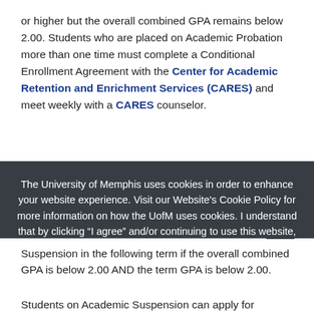or higher but the overall combined GPA remains below 2.00. Students who are placed on Academic Probation more than one time must complete a Conditional Enrollment Agreement with the Center for Academic Retention and Enrichment Services (CARES) and meet weekly with a CARES counselor.
Students on Academic Probation will be required to have
The University of Memphis uses cookies in order to enhance your website experience. Visit our Website's Cookie Policy for more information on how the UofM uses cookies. I understand that by clicking “I agree” and/or continuing to use this website, I agree to the UofM’s use of cookies. More information >
Suspension in the following term if the overall combined GPA is below 2.00 AND the term GPA is below 2.00.
Students on Academic Suspension can apply for